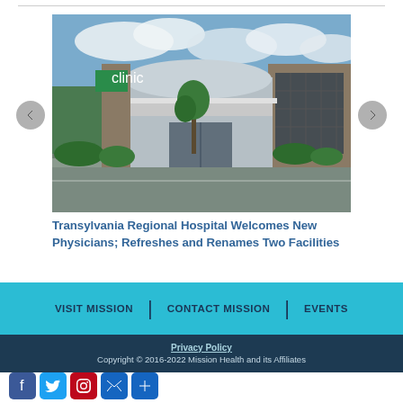[Figure (photo): Exterior photo of Transylvania Regional Hospital / medical facility building with a green sign, stone facade, large glass windows, modern canopy entrance, and trees/landscaping in front under a partly cloudy sky.]
Transylvania Regional Hospital Welcomes New Physicians; Refreshes and Renames Two Facilities
VISIT MISSION | CONTACT MISSION | EVENTS
Privacy Policy
Copyright © 2016-2022 Mission Health and its Affiliates